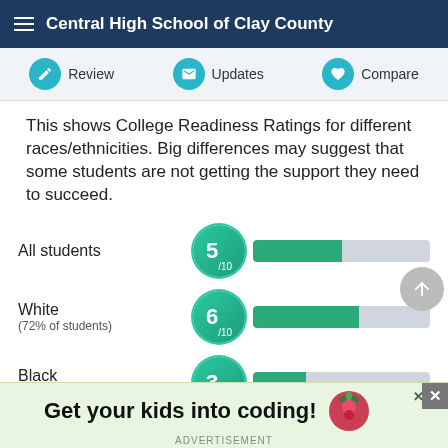Central High School of Clay County
Review   Updates   Compare
This shows College Readiness Ratings for different races/ethnicities. Big differences may suggest that some students are not getting the support they need to succeed.
[Figure (bar-chart): College Readiness Ratings by Race/Ethnicity]
[Figure (infographic): Advertisement banner: Get your kids into coding! with Raspberry Pi logo]